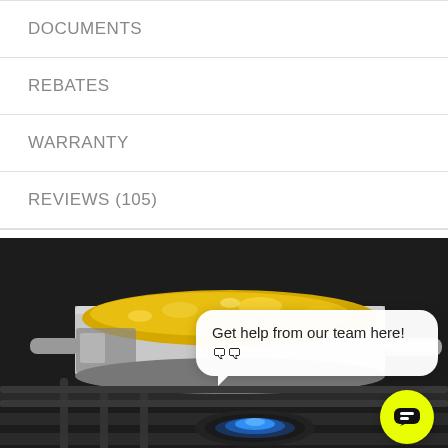DOCUMENTS
REBATES
WARRANTY
REVIEWS (105)
[Figure (photo): A stainless steel saucepan with boiling yellow liquid (sauce or soup) sitting on a gas stove burner with blue flame visible below. The image is partially obscured by a chat widget overlay.]
Get help from our team here! 🗨🗨